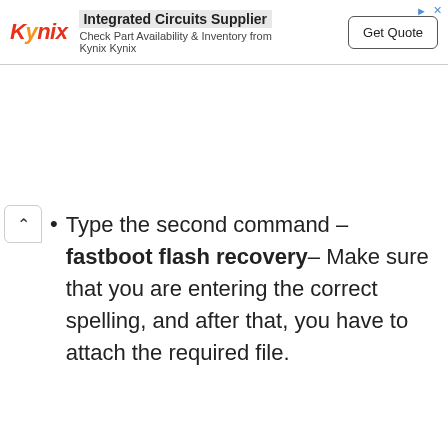[Figure (other): Kynix advertisement banner: Integrated Circuits Supplier – Check Part Availability & Inventory from Kynix Kynix, with Get Quote button]
Type the second command –fastboot flash recovery– Make sure that you are entering the correct spelling, and after that, you have to attach the required file.